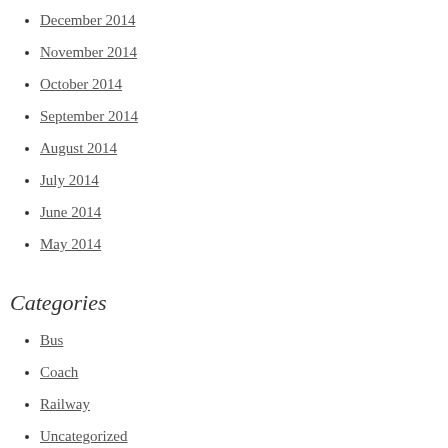December 2014
November 2014
October 2014
September 2014
August 2014
July 2014
June 2014
May 2014
Categories
Bus
Coach
Railway
Uncategorized